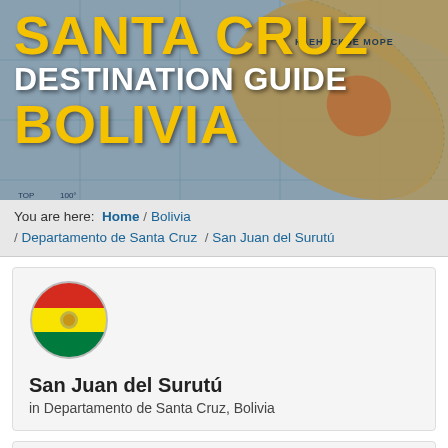[Figure (map): Background map showing South America with Cyrillic labels (КАЕНБСКОЕ МОРЕ), used as hero banner background for Santa Cruz Destination Guide Bolivia]
SANTA CRUZ DESTINATION GUIDE BOLIVIA
You are here: Home / Bolivia / Departamento de Santa Cruz / San Juan del Surutú
[Figure (illustration): Circular Bolivia flag icon with red, yellow, and green horizontal stripes]
San Juan del Surutú
in Departamento de Santa Cruz, Bolivia
How to get there and get around
Viru Viru International Airport (39 mi)